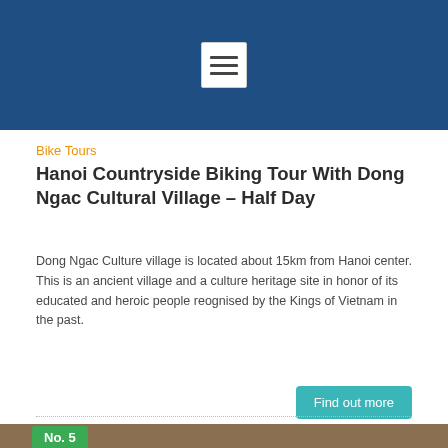[Figure (screenshot): Dark blue header banner with a white hamburger menu icon button centered]
Bike Tours
Hanoi Countryside Biking Tour With Dong Ngac Cultural Village – Half Day
Dong Ngac Culture village is located about 15km from Hanoi center. This is an ancient village and a culture heritage site in honor of its educated and heroic people reognised by the Kings of Vietnam in the past.
Find out more
[Figure (photo): Photo of traditional Vietnamese thatched-roof buildings with a No. 5 green badge overlay and green chat bubble icon in bottom right]